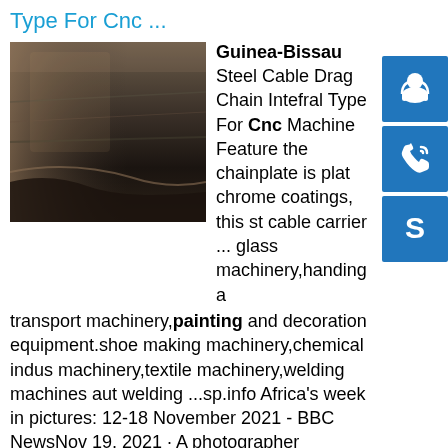Type For Cnc ...
[Figure (photo): Close-up photo of a dark metallic steel plate surface showing industrial material texture]
Guinea-Bissau Steel Cable Drag Chain Intefral Type For Cnc Machine Features: the chainplate is plated chrome coatings, this steel cable carrier ... glass machinery,handing and transport machinery,painting and decoration equipment.shoe making machinery,chemical industry machinery,textile machinery,welding machines auto welding ...sp.info Africa's week in pictures: 12-18 November 2021 - BBC NewsNov 19, 2021 · A photographer captures a Liberian man just after coming back from a Saturday surf off the coast of the capital, Monrovia. Image source, AFP. …sp.info GUINEA BISSAU 2008 MNH, Tiziano Vecelli, Italian painter ...GUINEA BISSAU 2008 MNH, Tiziano Vecelli, Italian painter, Painting - $3.17. FOR SALE! PLEASE READ BEFORE
[Figure (illustration): Blue square icon with white headset/support agent silhouette]
[Figure (illustration): Blue square icon with white phone/call silhouette]
[Figure (illustration): Blue square icon with white Skype logo]